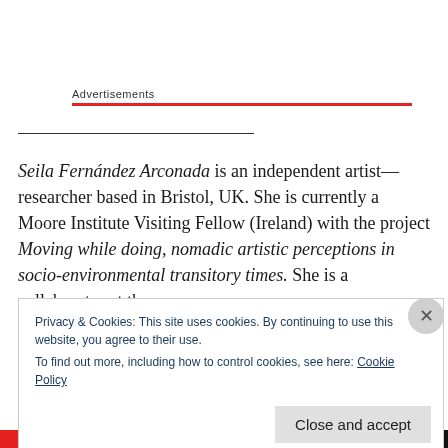Advertisements
Seila Fernández Arconada is an independent artist—researcher based in Bristol, UK. She is currently a Moore Institute Visiting Fellow (Ireland) with the project Moving while doing, nomadic artistic perceptions in socio-environmental transitory times. She is a collaborator at the
Privacy & Cookies: This site uses cookies. By continuing to use this website, you agree to their use.
To find out more, including how to control cookies, see here: Cookie Policy
Close and accept